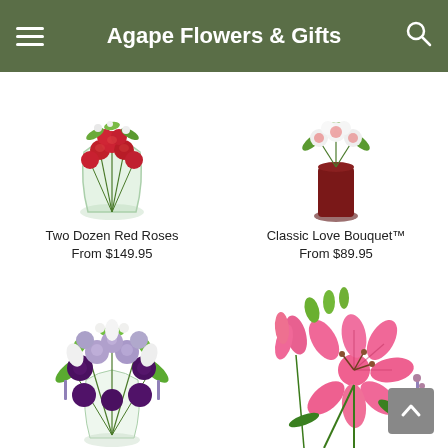Agape Flowers & Gifts
FREE Next Day Delivery ends in: 57 : 51 : 42
[Figure (photo): Two Dozen Red Roses bouquet in a clear glass vase]
Two Dozen Red Roses
From $149.95
[Figure (photo): Classic Love Bouquet in a dark red vase]
Classic Love Bouquet™
From $89.95
[Figure (photo): Purple and white mixed flower bouquet with roses and chrysanthemums in a clear vase]
[Figure (photo): Pink stargazer lily bouquet arrangement]